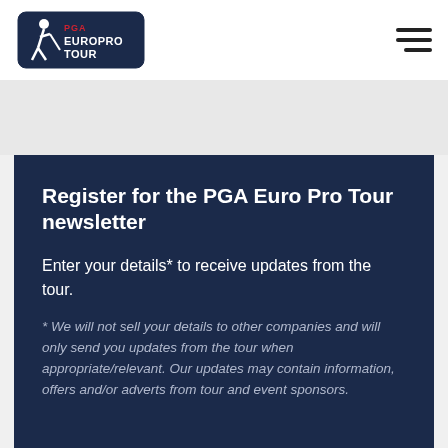PGA EuroPro Tour
Register for the PGA Euro Pro Tour newsletter
Enter your details* to receive updates from the tour.
* We will not sell your details to other companies and will only send you updates from the tour when appropriate/relevant. Our updates may contain information, offers and/or adverts from tour and event sponsors.